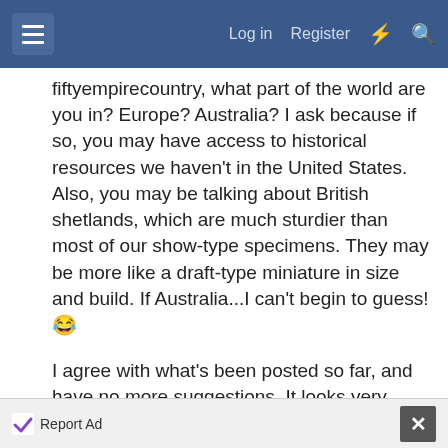Log in  Register
fiftyempirecountry, what part of the world are you in? Europe? Australia? I ask because if so, you may have access to historical resources we haven't in the United States. Also, you may be talking about British shetlands, which are much sturdier than most of our show-type specimens. They may be more like a draft-type miniature in size and build. If Australia...I can't begin to guess! 😆
I agree with what's been posted so far, and have no more suggestions. It looks very antique. I'll be following with interest to see what you finally decide upon for this unique transport.
Before I close, that's a lovely draft canine you have! Is
Report Ad